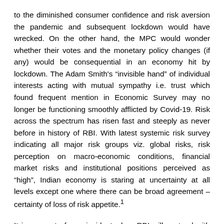to the diminished consumer confidence and risk aversion the pandemic and subsequent lockdown would have wrecked. On the other hand, the MPC would wonder whether their votes and the monetary policy changes (if any) would be consequential in an economy hit by lockdown. The Adam Smith's “invisible hand” of individual interests acting with mutual sympathy i.e. trust which found frequent mention in Economic Survey may no longer be functioning smoothly afflicted by Covid-19. Risk across the spectrum has risen fast and steeply as never before in history of RBI. With latest systemic risk survey indicating all major risk groups viz. global risks, risk perception on macro-economic conditions, financial market risks and institutional positions perceived as “high”, Indian economy is staring at uncertainty at all levels except one where there can be broad agreement – certainty of loss of risk appetite.¹
It is a rarest of rare incident when RBI will contend with the